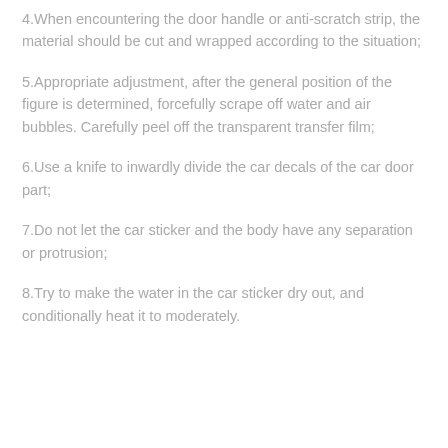4.When encountering the door handle or anti-scratch strip, the material should be cut and wrapped according to the situation;
5.Appropriate adjustment, after the general position of the figure is determined, forcefully scrape off water and air bubbles. Carefully peel off the transparent transfer film;
6.Use a knife to inwardly divide the car decals of the car door part;
7.Do not let the car sticker and the body have any separation or protrusion;
8.Try to make the water in the car sticker dry out, and conditionally heat it to moderately.